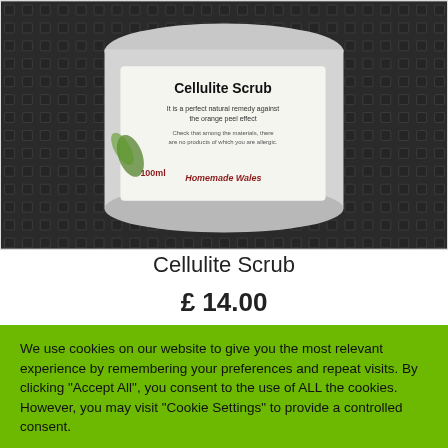[Figure (photo): Close-up photograph of a Cellulite Scrub product bottle/jar on a dark textured background. The label reads 'Cellulite Scrub', 'It is a perfect natural remedy against the orange peel effect', and '100ml Homemade Wales'.]
Cellulite Scrub
£ 14.00
We use cookies on our website to give you the most relevant experience by remembering your preferences and repeat visits. By clicking "Accept All", you consent to the use of ALL the cookies. However, you may visit "Cookie Settings" to provide a controlled consent.